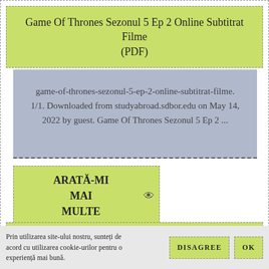Game Of Thrones Sezonul 5 Ep 2 Online Subtitrat Filme (PDF)
game-of-thrones-sezonul-5-ep-2-online-subtitrat-filme. 1/1. Downloaded from studyabroad.sdbor.edu on May 14, 2022 by guest. Game Of Thrones Sezonul 5 Ep 2 ...
ARATĂ-MI MAI MULTE
Game Of Thrones Sezonul 5 Ep 2 Online Subtitrat Filme
Prin utilizarea site-ului nostru, sunteți de acord cu utilizarea cookie-urilor pentru o experiență mai bună.